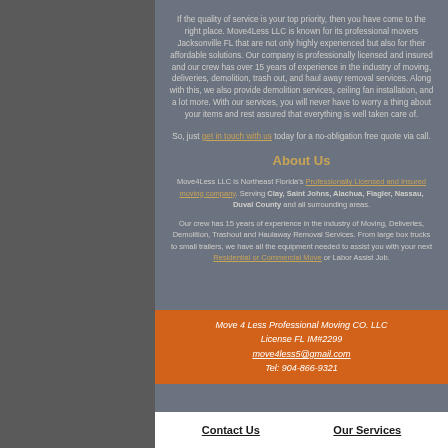If the quality of service is your top priority, then you have come to the right place. Move4Less LLC is known for its professional movers Jacksonville FL that are not only highly experienced but also for their affordable solutions. Our company is professionally licensed and insured and our crew has over 15 years of experience in the industry of moving, deliveries, demolition, trash out, and haul away removal services. Along with this, we also provide demolition services, ceiling fan installation, and a lot more. With our services, you will never have to worry a thing about your items and rest assured that everything is well taken care of.
So, just get in touch with us today for a no-obligation free quote via call.
About Us
Move4Less LLC is Northeast Florida's Professionally Licensed and Insured moving company. Serving Clay, Saint Johns, Alachua, Flagler, Nassau, Duval County and all surrounding areas.
Our crew has 15 years of experience in the industry of Moving, Deliveries, Demolition, Trashout and Haulaway Removal Services. From large box trucks to small trailers, we have all the equipment needed to assist you with your next Residential or Commercial Move or Labor Assist Job.
Move 4 Less Professional Moving CO. LLC
License FL IM#2299
move4less5@gmail.com
Tel: 904-866-9321
Contact Us
Our Services